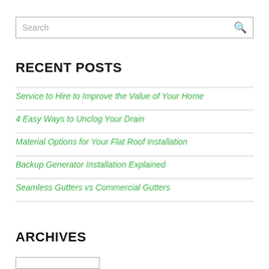Search
RECENT POSTS
Service to Hire to Improve the Value of Your Home
4 Easy Ways to Unclog Your Drain
Material Options for Your Flat Roof Installation
Backup Generator Installation Explained
Seamless Gutters vs Commercial Gutters
ARCHIVES